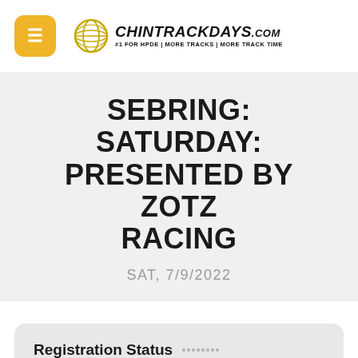[Figure (logo): ChinTrackDays.com logo with hamburger menu button. Logo shows a globe-like circular icon and text 'CHIN TRACK DAYS .com' with tagline '#1 FOR HPDE | MORE TRACKS | MORE TRACK TIME']
SEBRING: SATURDAY: PRESENTED BY ZOTZ RACING
SAT, 7/9/2022
Registration Status
Sebring, 3.7 mile, 17 turn 12-Hour Circuit